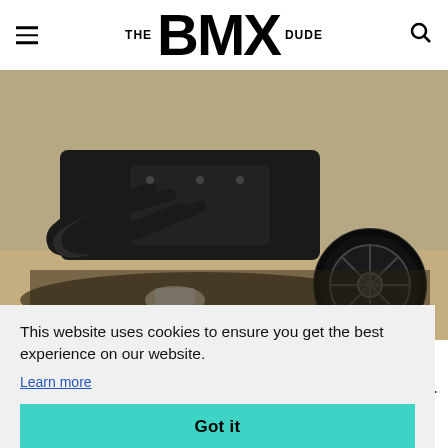THE BMX DUDE
[Figure (photo): Close-up photo of a motorcycle showing the engine exhaust pipes, frame, and front wheel on a dirt/gravel ground with shadows]
This website uses cookies to ensure you get the best experience on our website.
Learn more
Got it
out
y.
yo g y